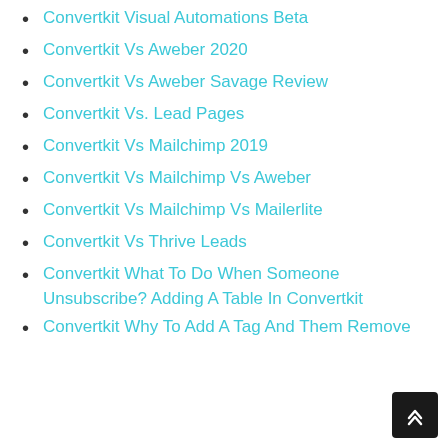Convertkit Visual Automations Beta
Convertkit Vs Aweber 2020
Convertkit Vs Aweber Savage Review
Convertkit Vs. Lead Pages
Convertkit Vs Mailchimp 2019
Convertkit Vs Mailchimp Vs Aweber
Convertkit Vs Mailchimp Vs Mailerlite
Convertkit Vs Thrive Leads
Convertkit What To Do When Someone Unsubscribe? Adding A Table In Convertkit
Convertkit Why To Add A Tag And Them Remove